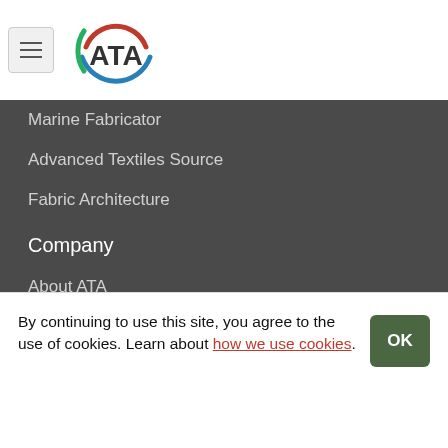[Figure (logo): ATA logo with red, green, and blue arcs around the letters ATA]
Marine Fabricator
Advanced Textiles Source
Fabric Architecture
Company
About ATA
Events
Divisions
Publications
Support
Contact
Advertise
By continuing to use this site, you agree to the use of cookies. Learn about how we use cookies.